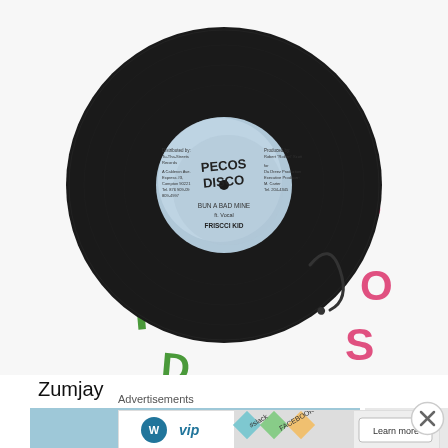[Figure (photo): Vinyl record (7-inch single) on a white background with colorful hand-drawn letters (K, H, D in green; P, O, S in pink/red) around it. The record label reads 'PECOS DISCO' and the track title 'BUN A BAD MINE' by 'FRISCCI KID'.]
Zumjay
[Figure (photo): Blue-background image showing a vinyl record sleeve with hand-written text 'PeccoSound System' and 'Kitchie' in colorful letters. A white paper sleeve and record are visible.]
Advertisements
[Figure (screenshot): Advertisement banner showing WordPress VIP logo on the left and a collage of social media brand logos (Slack, Facebook, etc.) with a 'Learn more →' button on the right.]